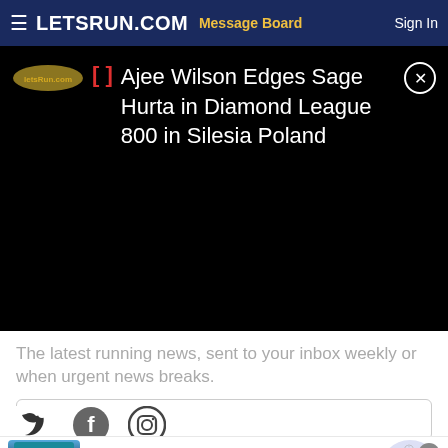LETSRUN.COM  Message Board  Sign In
Ajee Wilson Edges Sage Hurta in Diamond League 800 in Silesia Poland
The latest running news, sent to your inbox weekly or when urgent news breaks.
Enter your email
Subscribe
[Figure (infographic): Social media icons: Twitter bird, Facebook f, Instagram camera]
[Figure (infographic): Advertisement: Ocean anc coast family - 60% Off Ocean and Coast for The Family - www.belk.com - with product image of shorts]